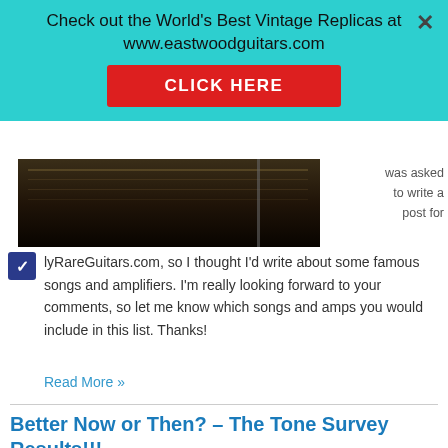[Figure (screenshot): Advertisement banner overlay with cyan/turquoise background. Text: 'Check out the World's Best Vintage Replicas at www.eastwoodguitars.com' with a red CLICK HERE button and an X close button.]
[Figure (photo): Dark photo of what appears to be a vintage guitar amplifier or equipment, partially visible.]
was asked to write a post for
lyRareGuitars.com, so I thought I'd write about some famous songs and amplifiers. I'm really looking forward to your comments, so let me know which songs and amps you would include in this list. Thanks!
Read More »
Better Now or Then? – The Tone Survey Results!!!
By Don Mackrill | August 2, 2010 | 5 Comments | Amplifier Tips, Amps & Tone, Guitar Talk
As promised, this month we'll take a look at the results of The Tone Survey. Last month, I published a survey that asked questions about the state of